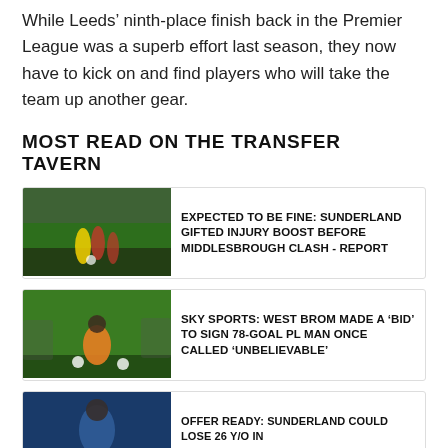While Leeds’ ninth-place finish back in the Premier League was a superb effort last season, they now have to kick on and find players who will take the team up another gear.
MOST READ ON THE TRANSFER TAVERN
[Figure (photo): Football match action photo showing players in yellow and red/white striped kits competing for the ball on a green pitch]
EXPECTED TO BE FINE: SUNDERLAND GIFTED INJURY BOOST BEFORE MIDDLESBROUGH CLASH - REPORT
[Figure (photo): Player in orange bib crouching on a green pitch during warm-up with footballs nearby]
SKY SPORTS: WEST BROM MADE A 'BID' TO SIGN 78-GOAL PL MAN ONCE CALLED 'UNBELIEVABLE'
[Figure (photo): Player portrait with crowd/stadium background]
OFFER READY: SUNDERLAND COULD LOSE 26 Y/O IN...